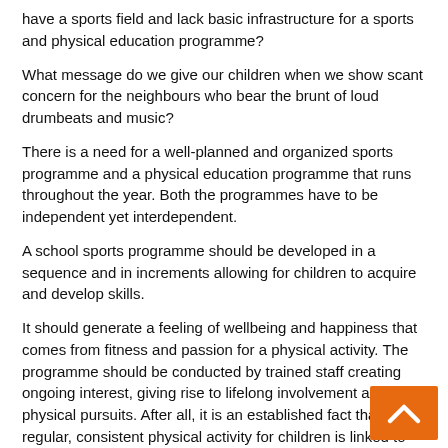have a sports field and lack basic infrastructure for a sports and physical education programme?
What message do we give our children when we show scant concern for the neighbours who bear the brunt of loud drumbeats and music?
There is a need for a well-planned and organized sports programme and a physical education programme that runs throughout the year. Both the programmes have to be independent yet interdependent.
A school sports programme should be developed in a sequence and in increments allowing for children to acquire and develop skills.
It should generate a feeling of wellbeing and happiness that comes from fitness and passion for a physical activity. The programme should be conducted by trained staff creating ongoing interest, giving rise to lifelong involvement and physical pursuits. After all, it is an established fact that regular, consistent physical activity for children is linked to positive self-esteem, skeletal and cardio-vascular health, stamina, skill development and values of discipline, respect, fairness, responsibility and resilience.
[Figure (other): Orange back-to-top button with upward chevron arrow in bottom right corner]